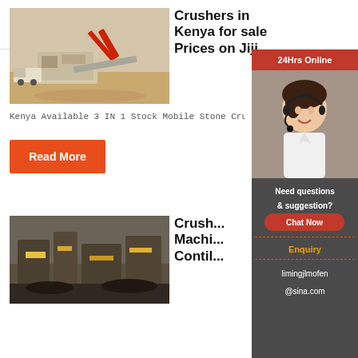CRUSHER Mining Equipment
[Figure (photo): Aerial view of mobile stone crusher equipment at a mining site in Kenya]
Crushers in Kenya for sale Prices on Jiji
Kenya Available 3 IN 1 Stock Mobile Stone Crus...
Read More
[Figure (photo): Crusher machine equipment at a mining/quarry site]
Crush... Machi... Contil...
[Figure (infographic): Sidebar widget: 24Hrs Online chat support with agent photo, Need questions & suggestion? Chat Now, Enquiry, limingjlmofen@sina.com]